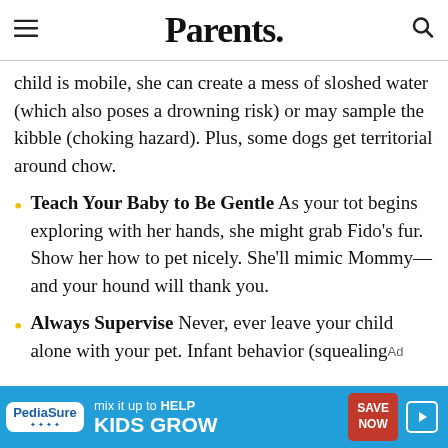Parents.
child is mobile, she can create a mess of sloshed water (which also poses a drowning risk) or may sample the kibble (choking hazard). Plus, some dogs get territorial around chow.
Teach Your Baby to Be Gentle As your tot begins exploring with her hands, she might grab Fido’s fur. Show her how to pet nicely. She’ll mimic Mommy—and your hound will thank you.
Always Supervise Never, ever leave your child alone with your pet. Infant behavior (squealing
[Figure (screenshot): PediaSure advertisement: 'mix it up to HELP KIDS GROW' with Save Now button on blue background]